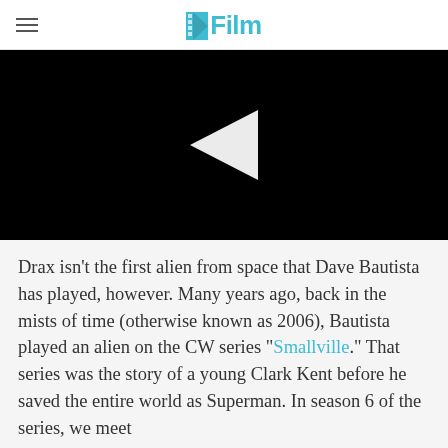/Film
[Figure (screenshot): Black video player with a white play button triangle in the center]
Drax isn't the first alien from space that Dave Bautista has played, however. Many years ago, back in the mists of time (otherwise known as 2006), Bautista played an alien on the CW series "Smallville." That series was the story of a young Clark Kent before he saved the entire world as Superman. In season 6 of the series, we meet